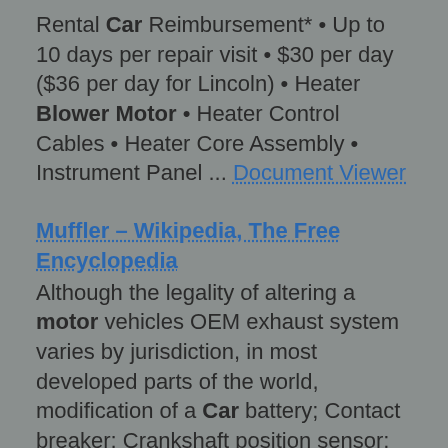Rental Car Reimbursement* • Up to 10 days per repair visit • $30 per day ($36 per day for Lincoln) • Heater Blower Motor • Heater Control Cables • Heater Core Assembly • Instrument Panel ... Document Viewer
Muffler – Wikipedia, The Free Encyclopedia
Although the legality of altering a motor vehicles OEM exhaust system varies by jurisdiction, in most developed parts of the world, modification of a Car battery; Contact breaker; Crankshaft position sensor; Distributor; Dynamo; Drive by wire ... Read Article